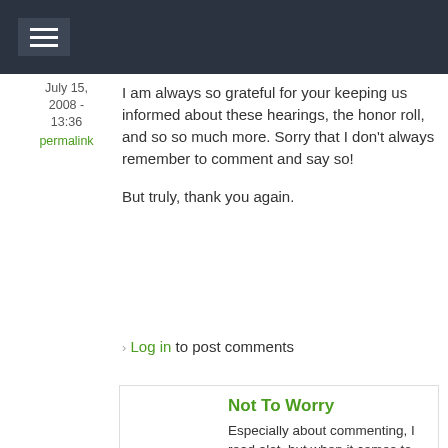≡
July 15, 2008 - 13:36
permalink
I am always so grateful for your keeping us informed about these hearings, the honor roll, and so so much more. Sorry that I don't always remember to comment and say so!

But truly, thank you again.
Log in to post comments
jimstaro
July 15, 2008 - 15:27
permalink
Not To Worry
Especially about commenting, I read alot, but when it comes to many commets I'm ussually to tired to think or this one handed, couple of fingers, typing slows it down so train